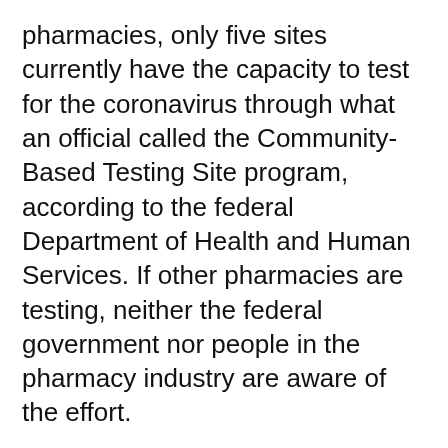pharmacies, only five sites currently have the capacity to test for the coronavirus through what an official called the Community-Based Testing Site program, according to the federal Department of Health and Human Services. If other pharmacies are testing, neither the federal government nor people in the pharmacy industry are aware of the effort.
The evident disconnect between Trump's promise and on-the-ground reality is reflected in a sign that, according to a company representative, has been placed at every Target around the nation (Target's pharmacies are operated by CVS): “This store is NOT a CDC testing center,” the signs say, citing the acronym for the Centers for Dis...